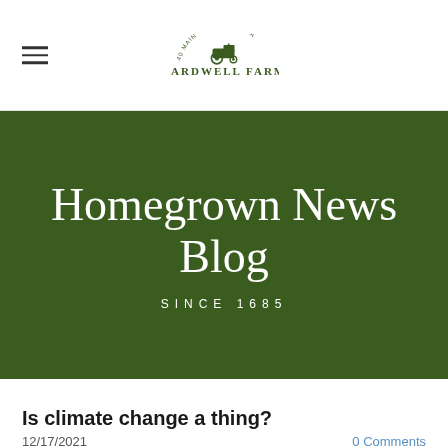BARDWELL FARM
[Figure (logo): Bardwell Farm logo with tractor illustration and text '40 MAIN · HATFIELD, MA' above 'BARDWELL FARM']
Homegrown News Blog
SINCE 1685
Is climate change a thing?
12/17/2021
0 Comments